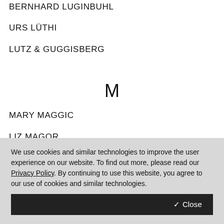BERNHARD LUGINBUHL
URS LÜTHI
LUTZ & GUGGISBERG
M
MARY MAGGIC
LIZ MAGOR
ANNA-MARIA MAIOLINO
We use cookies and similar technologies to improve the user experience on our website. To find out more, please read our Privacy Policy. By continuing to use this website, you agree to our use of cookies and similar technologies.
✓ Close